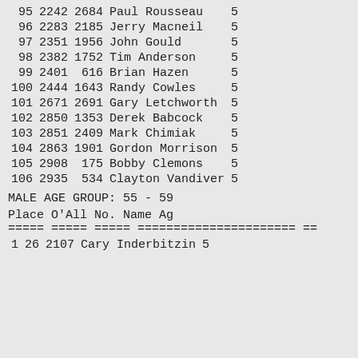| Place | O'All | No. | Name | Ag |
| --- | --- | --- | --- | --- |
| 95 | 2242 | 2684 | Paul Rousseau | 5 |
| 96 | 2283 | 2185 | Jerry Macneil | 5 |
| 97 | 2351 | 1956 | John Gould | 5 |
| 98 | 2382 | 1752 | Tim Anderson | 5 |
| 99 | 2401 | 616 | Brian Hazen | 5 |
| 100 | 2444 | 1643 | Randy Cowles | 5 |
| 101 | 2671 | 2691 | Gary Letchworth | 5 |
| 102 | 2850 | 1353 | Derek Babcock | 5 |
| 103 | 2851 | 2409 | Mark Chimiak | 5 |
| 104 | 2863 | 1901 | Gordon Morrison | 5 |
| 105 | 2908 | 175 | Bobby Clemons | 5 |
| 106 | 2935 | 534 | Clayton Vandiver | 5 |
MALE AGE GROUP:  55 - 59
| Place | O'All | No. | Name | Ag |
| --- | --- | --- | --- | --- |
| 1 | 26 | 2107 | Cary Inderbitzin | 5 |